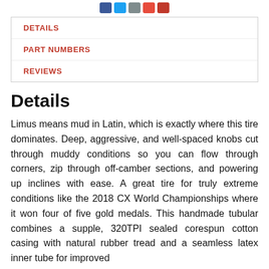[Figure (other): Row of social sharing icon buttons (blue Facebook, blue Twitter, gray email, red Pinterest, red other)]
DETAILS
PART NUMBERS
REVIEWS
Details
Limus means mud in Latin, which is exactly where this tire dominates. Deep, aggressive, and well-spaced knobs cut through muddy conditions so you can flow through corners, zip through off-camber sections, and powering up inclines with ease. A great tire for truly extreme conditions like the 2018 CX World Championships where it won four of five gold medals. This handmade tubular combines a supple, 320TPI sealed corespun cotton casing with natural rubber tread and a seamless latex inner tube for improved